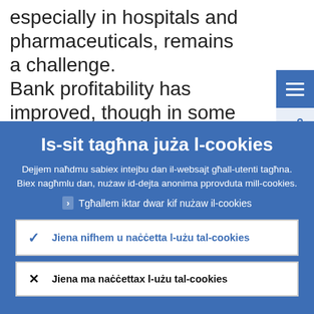especially in hospitals and pharmaceuticals, remains a challenge.
Bank profitability has improved, though in some cases it remains fragile or boosted by
Is-sit tagħna juża l-cookies
Dejjem naħdmu sabiex intejbu dan il-websajt għall-utenti tagħna. Biex nagħmlu dan, nużaw id-dejta anonima pprovduta mill-cookies.
Tgħallem iktar dwar kif nużaw il-cookies
Jiena nifhem u naċċetta l-użu tal-cookies
Jiena ma naċċettax l-użu tal-cookies